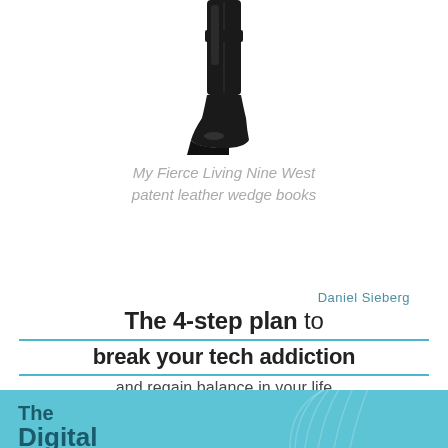[Figure (photo): A tall black patent leather wedge boot (Nine West Fierce) shown in full against white background]
My Fierce Living Nine West patent leather wedge books
Daniel Sieberg
The 4-step plan to break your tech addiction and regain balance in your life
[Figure (illustration): Book cover of The Digital Diet by Daniel Sieberg, teal background with concentric arc lines, text reading 'The Digital Diet']